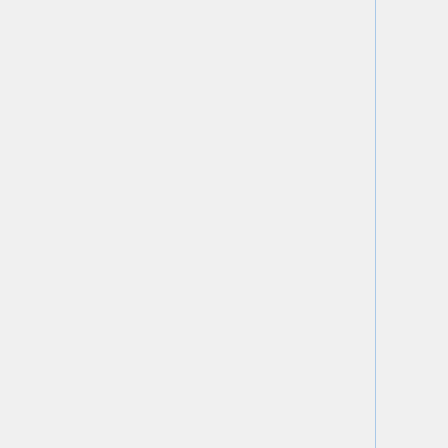| Module | Load Command |
| --- | --- |
| segemehl/0.2.0 | module load gc gdc segemehl/0... |
| se-mei/1.0 | module load gc gdc python/2.7 mei/1.0 |
| seqkit/0.7.2 | module load gc gdc seqkit/0.7.2 |
| seqprep/1 | module load gc gdc seqprep/1 |
| seqtk/1.2-r94 | module load gc gdc seqtk/1.2-r... |
| sga/0.10.14 | module load gc gdc python/2.7 perl/5.18.4 bamtools/2.4.0 sga/0.10.14 |
| changeit/26082019 | module load ne gcc/5.2.0 gdc samtools/1.7 |